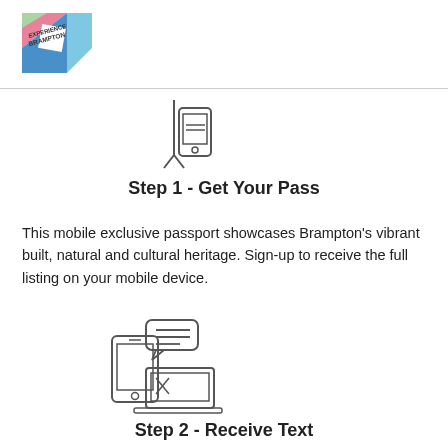[Figure (logo): Experience Brampton logo with colorful geometric design]
[Figure (illustration): Line icon of a mobile phone/ticket scanner device]
Step 1 - Get Your Pass
This mobile exclusive passport showcases Brampton's vibrant built, natural and cultural heritage. Sign-up to receive the full listing on your mobile device.
[Figure (illustration): Line icon of a smartphone and laptop with chat/message bubbles]
Step 2 - Receive Text
Your passport will be instantly delivered to your phone via text